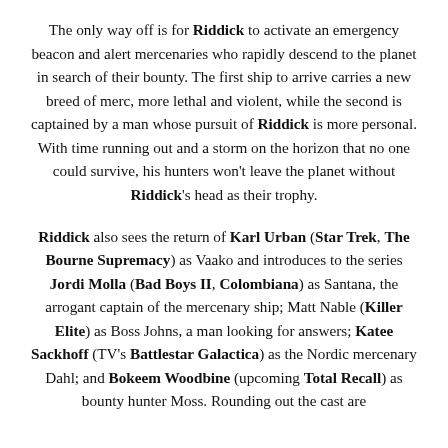The only way off is for Riddick to activate an emergency beacon and alert mercenaries who rapidly descend to the planet in search of their bounty. The first ship to arrive carries a new breed of merc, more lethal and violent, while the second is captained by a man whose pursuit of Riddick is more personal. With time running out and a storm on the horizon that no one could survive, his hunters won't leave the planet without Riddick's head as their trophy.
Riddick also sees the return of Karl Urban (Star Trek, The Bourne Supremacy) as Vaako and introduces to the series Jordi Molla (Bad Boys II, Colombiana) as Santana, the arrogant captain of the mercenary ship; Matt Nable (Killer Elite) as Boss Johns, a man looking for answers; Katee Sackhoff (TV's Battlestar Galactica) as the Nordic mercenary Dahl; and Bokeem Woodbine (upcoming Total Recall) as bounty hunter Moss. Rounding out the cast are